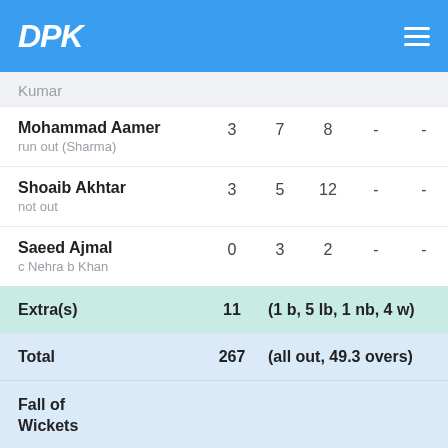DPK
Kumar
| Player | R | B | 4s | 6s | SR |
| --- | --- | --- | --- | --- | --- |
| Mohammad Aamer
run out (Sharma) | 3 | 7 | 8 | - | - |
| Shoaib Akhtar
not out | 3 | 5 | 12 | - | - |
| Saeed Ajmal
c Nehra b Khan | 0 | 3 | 2 | - | - |
| Extra(s) | 11 | (1 b, 5 lb, 1 nb, 4 w) |  |  |  |
| Total | 267 | (all out, 49.3 overs) |  |  |  |
| Fall of Wickets |  |  |  |  |  |